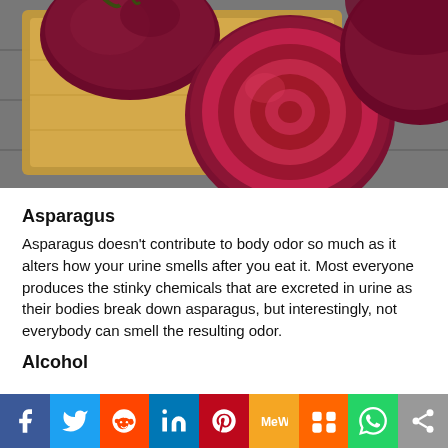[Figure (photo): Red beetroots on a wooden cutting board, one sliced to show deep purple-red interior, on a gray wooden surface]
Asparagus
Asparagus doesn't contribute to body odor so much as it alters how your urine smells after you eat it. Most everyone produces the stinky chemicals that are excreted in urine as their bodies break down asparagus, but interestingly, not everybody can smell the resulting odor.
Alcohol
[Figure (infographic): Social media sharing bar with icons: Facebook, Twitter, Reddit, LinkedIn, Pinterest, MeWe, Mix, WhatsApp, Share]